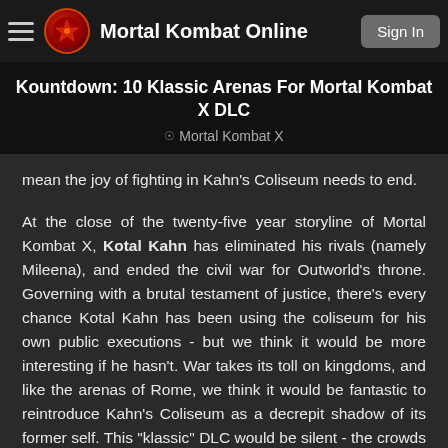Mortal Kombat Online
Kountdown: 10 Klassic Arenas For Mortal Kombat X DLC
Mortal Kombat X
mean the joy of fighting in Kahn's Coliseum needs to end.

At the close of the twenty-five year storyline of Mortal Kombat X, Kotal Kahn has eliminated his rivals (namely Mileena), and ended the civil war for Outworld's throne. Governing with a brutal testament of justice, there's every chance Kotal Kahn has been using the coliseum for his own public executions - but we think it would be more interesting if he hasn't. War takes its toll on kingdoms, and like the arenas of Rome, we think it would be fantastic to reintroduce Kahn's Coliseum as a decrepit shadow of its former self. This "klassic" DLC would be silent - the crowds too poor and afraid to fill its seats. The stone theatre would be crumbling, and the stains of past battles darkened and dusty. An echo of the past, telling the story of twenty-five years of unrest in visual.